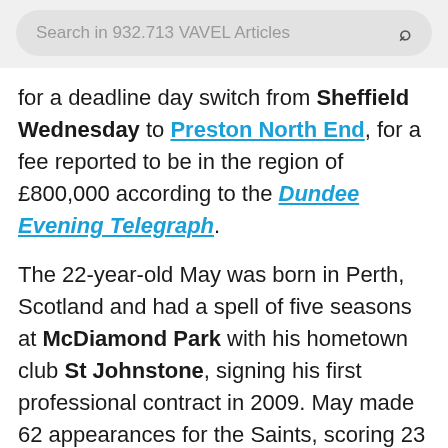Search in 932.713 VAVEL Articles
for a deadline day switch from Sheffield Wednesday to Preston North End, for a fee reported to be in the region of £800,000 according to the Dundee Evening Telegraph.
The 22-year-old May was born in Perth, Scotland and had a spell of five seasons at McDiamond Park with his hometown club St Johnstone, signing his first professional contract in 2009. May made 62 appearances for the Saints, scoring 23 goals.
His time at McDiamond Park also included loan spells with Alloa Athletic and Hamilton Academical. Both of these loan spells were